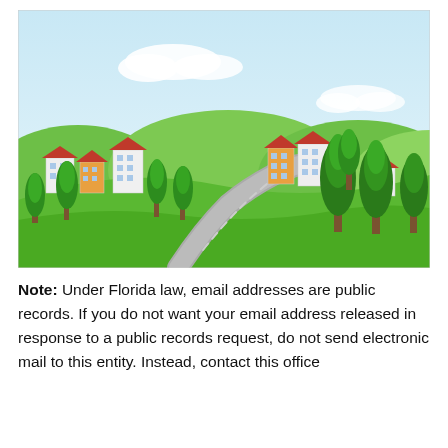[Figure (illustration): Cartoon illustration of a rural town scene with green rolling hills, several buildings with red roofs, conical green trees, and a winding grey road leading into the distance under a light blue sky with white clouds.]
Note: Under Florida law, email addresses are public records. If you do not want your email address released in response to a public records request, do not send electronic mail to this entity. Instead, contact this office